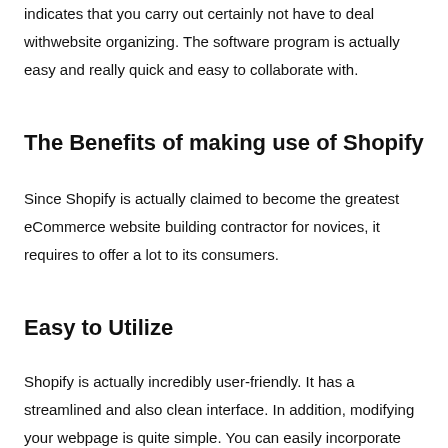indicates that you carry out certainly not have to deal withwebsite organizing. The software program is actually easy and really quick and easy to collaborate with.
The Benefits of making use of Shopify
Since Shopify is actually claimed to become the greatest eCommerce website building contractor for novices, it requires to offer a lot to its consumers.
Easy to Utilize
Shopify is actually incredibly user-friendly. It has a streamlined and also clean interface. In addition, modifying your webpage is quite simple. You can easily incorporate